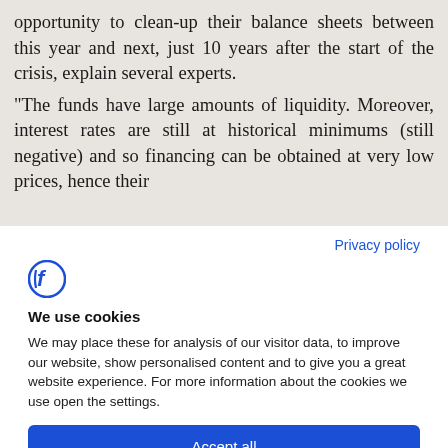opportunity to clean-up their balance sheets between this year and next, just 10 years after the start of the crisis, explain several experts. "The funds have large amounts of liquidity. Moreover, interest rates are still at historical minimums (still negative) and so financing can be obtained at very low prices, hence their
Privacy policy
[Figure (logo): Blue stylized letter F logo]
We use cookies
We may place these for analysis of our visitor data, to improve our website, show personalised content and to give you a great website experience. For more information about the cookies we use open the settings.
Accept all
Deny
No, adjust